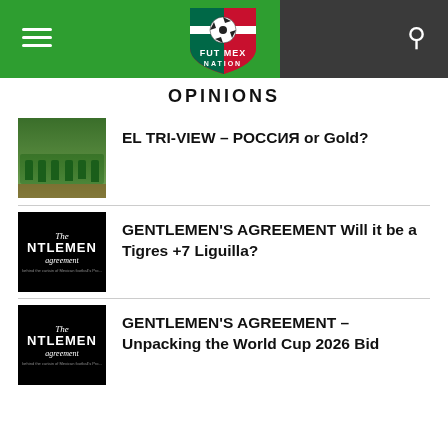FUT MEX NATION
OPINIONS
EL TRI-VIEW – РОССИЯ or Gold?
GENTLEMEN'S AGREEMENT Will it be a Tigres +7 Liguilla?
GENTLEMEN'S AGREEMENT – Unpacking the World Cup 2026 Bid